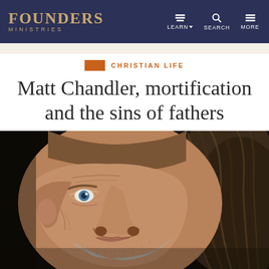FOUNDERS MINISTRIES | LEARN | SEARCH | MORE
CHRISTIAN LIFE
Matt Chandler, mortification and the sins of fathers
[Figure (photo): Close-up portrait of an elderly man with blue eyes, wrinkled skin, grey stubble beard, and long brown and grey hair, photographed against a dark background in dramatic lighting]